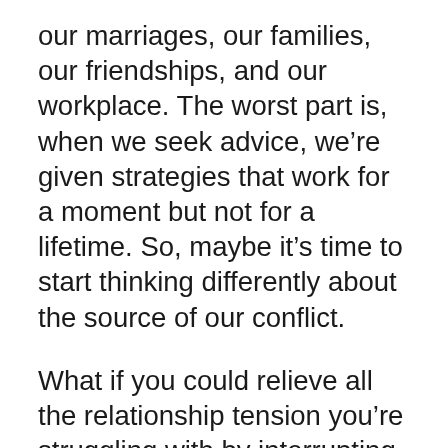our marriages, our families, our friendships, and our workplace. The worst part is, when we seek advice, we're given strategies that work for a moment but not for a lifetime. So, maybe it's time to start thinking differently about the source of our conflict.
What if you could relieve all the relationship tension you're struggling with by interrupting the #1 most destructive thinking pattern that always results in conflict? And what if you could end a very large percentage of personal conflict just by remembering to ask yourself one question?